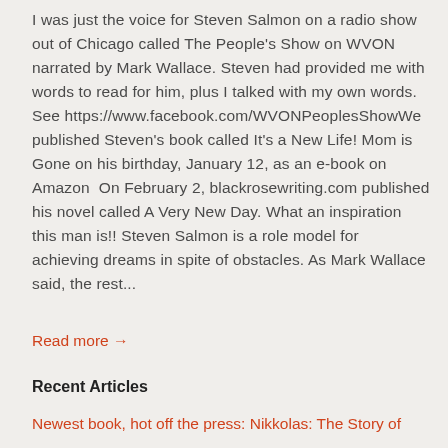I was just the voice for Steven Salmon on a radio show out of Chicago called The People's Show on WVON narrated by Mark Wallace. Steven had provided me with words to read for him, plus I talked with my own words. See https://www.facebook.com/WVONPeoplesShowWe published Steven's book called It's a New Life! Mom is Gone on his birthday, January 12, as an e-book on Amazon  On February 2, blackrosewriting.com published his novel called A Very New Day. What an inspiration this man is!! Steven Salmon is a role model for achieving dreams in spite of obstacles. As Mark Wallace said, the rest...
Read more →
Recent Articles
Newest book, hot off the press: Nikkolas: The Story of